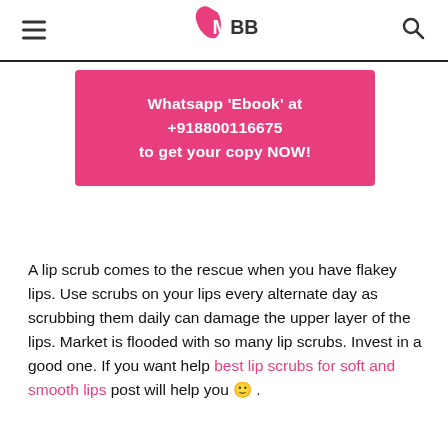IMBB
[Figure (infographic): Pink banner with text: Whatsapp 'Ebook' at +918800116675 to get your copy NOW!]
A lip scrub comes to the rescue when you have flakey lips. Use scrubs on your lips every alternate day as scrubbing them daily can damage the upper layer of the lips. Market is flooded with so many lip scrubs. Invest in a good one. If you want help best lip scrubs for soft and smooth lips post will help you 🙂 .